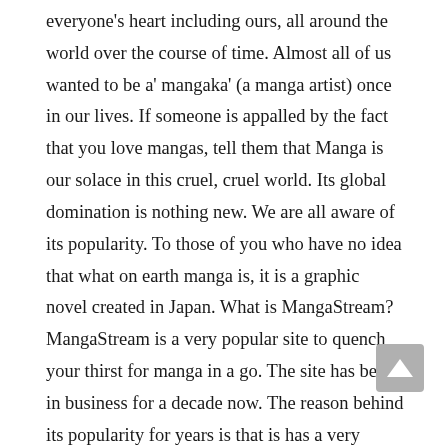everyone's heart including ours, all around the world over the course of time. Almost all of us wanted to be a' mangaka' (a manga artist) once in our lives. If someone is appalled by the fact that you love mangas, tell them that Manga is our solace in this cruel, cruel world. Its global domination is nothing new. We are all aware of its popularity. To those of you who have no idea that what on earth manga is, it is a graphic novel created in Japan. What is MangaStream? MangaStream is a very popular site to quench your thirst for manga in a go. The site has been in business for a decade now. The reason behind its popularity for years is that is has a very simple interface which made it very user-friendly, the manga content it provides is crisp and has quite some array of a genre that includes everything from sci-fi, to action, romance and much more and all of it was provided in different languages as well, it also provided you